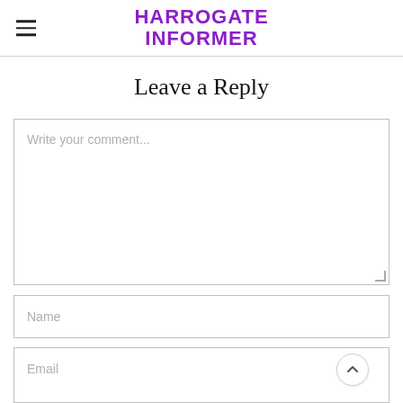HARROGATE INFORMER
Leave a Reply
Write your comment...
Name
Email